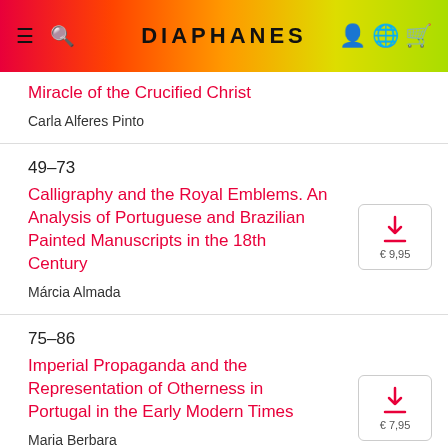DIAPHANES
Miracle of the Crucified Christ
Carla Alferes Pinto
49–73
Calligraphy and the Royal Emblems. An Analysis of Portuguese and Brazilian Painted Manuscripts in the 18th Century
Márcia Almada
75–86
Imperial Propaganda and the Representation of Otherness in Portugal in the Early Modern Times
Maria Berbara